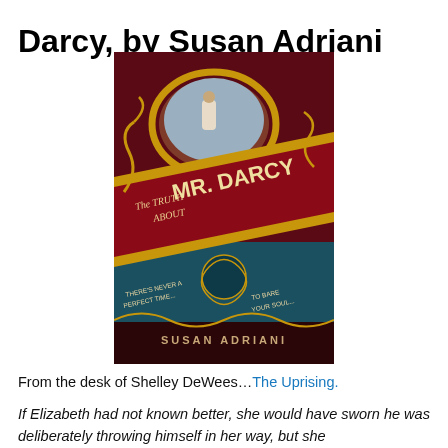Darcy, by Susan Adriani
[Figure (photo): Book cover of 'The Truth About Mr. Darcy' by Susan Adriani. A vintage-style cover with dark red, gold, and teal colors. Features an ornate gold mirror frame at top showing a Regency-era woman. Large text reads 'The Truth About Mr. Darcy' with tagline 'There's never a perfect time... to bare your soul...' and author name 'Susan Adriani' at bottom.]
From the desk of Shelley DeWees…The Uprising.
If Elizabeth had not known better, she would have sworn he was deliberately throwing himself in her way, but she